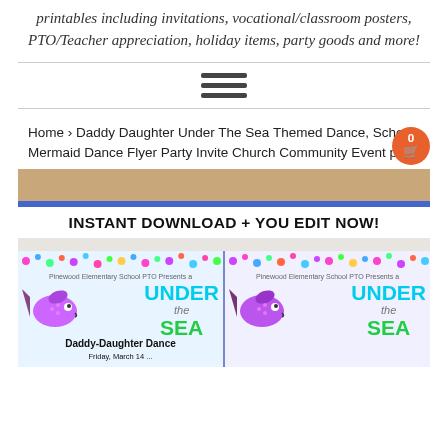printables including invitations, vocational/classroom posters, PTO/Teacher appreciation, holiday items, party goods and more!
[Figure (screenshot): Hamburger menu icon (three horizontal lines)]
Home › Daddy Daughter Under The Sea Themed Dance, School Mermaid Dance Flyer Party Invite Church Community Event pto
[Figure (photo): Product listing image showing 'INSTANT DOWNLOAD + YOU EDIT NOW!' banner with two side-by-side Under the Sea Daddy-Daughter Dance flyer designs featuring colorful fish illustrations and bubble confetti patterns]